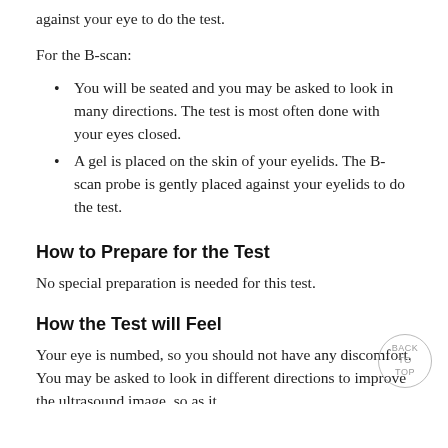against your eye to do the test.
For the B-scan:
You will be seated and you may be asked to look in many directions. The test is most often done with your eyes closed.
A gel is placed on the skin of your eyelids. The B-scan probe is gently placed against your eyelids to do the test.
How to Prepare for the Test
No special preparation is needed for this test.
How the Test will Feel
Your eye is numbed, so you should not have any discomfort. You may be asked to look in different directions to improve the ultrasound image, so as it